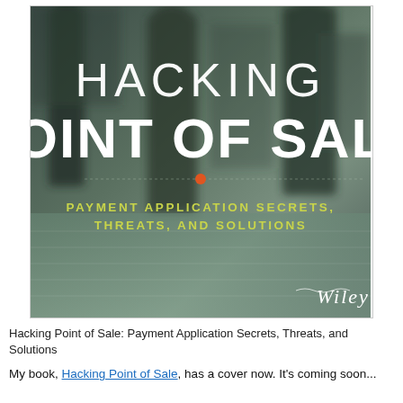[Figure (illustration): Book cover of 'Hacking Point of Sale: Payment Application Secrets, Threats, and Solutions' published by Wiley. Dark blurry background showing silhouettes of walking people. Title text 'HACKING' in white, 'POINT OF SALE' in large bold white, subtitle in yellow-green: 'PAYMENT APPLICATION SECRETS, THREATS, AND SOLUTIONS'. Orange dot in center. Wiley logo bottom right.]
Hacking Point of Sale: Payment Application Secrets, Threats, and Solutions
My book, Hacking Point of Sale, has a cover now. It's coming soon...